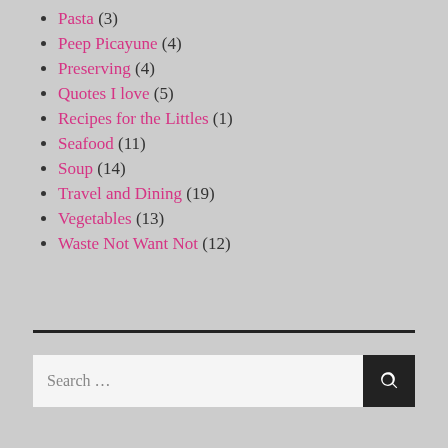Pasta (3)
Peep Picayune (4)
Preserving (4)
Quotes I love (5)
Recipes for the Littles (1)
Seafood (11)
Soup (14)
Travel and Dining (19)
Vegetables (13)
Waste Not Want Not (12)